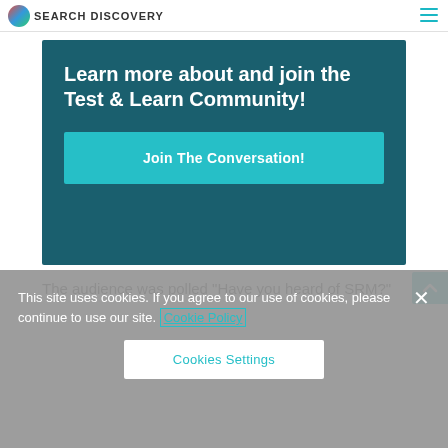Search Discovery
[Figure (infographic): Teal dark background promotional banner with title 'Learn more about and join the Test & Learn Community!' and a 'Join The Conversation!' button in lighter teal]
The audience was polled "Have you heard of SRM?"
This site uses cookies. If you agree to our use of cookies, please continue to use our site. Cookie Policy
Cookies Settings